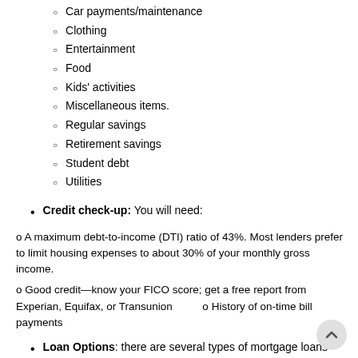Car payments/maintenance
Clothing
Entertainment
Food
Kids' activities
Miscellaneous items.
Regular savings
Retirement savings
Student debt
Utilities
Credit check-up: You will need:
o A maximum debt-to-income (DTI) ratio of 43%. Most lenders prefer to limit housing expenses to about 30% of your monthly gross income.
o Good credit—know your FICO score; get a free report from Experian, Equifax, or Transunion        o History of on-time bill payments
Loan Options: there are several types of mortgage loans available especially for first-time homebuyers.